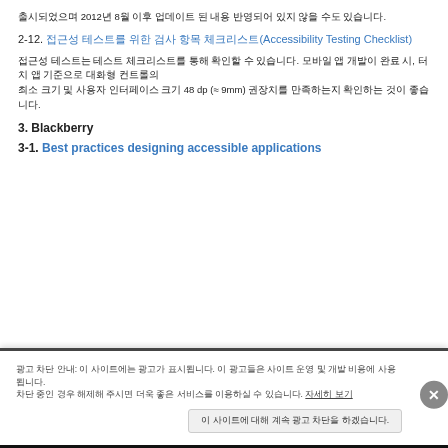출시되었으며 2012년 8월 이후 업데이트 된 내용 반영되어 있지 않을 수도 있습니다.
2-12. 접근성 테스트를 위한 검사 항목 체크리스트(Accessibility Testing Checklist)
접근성 테스트는 테스트 체크리스트를 통해 확인할 수 있습니다. 모바일 앱 개발이 완료 시, 터치 앱 기준으로 대화형 컨트롤의 최소 크기 및 사용자 인터페이스 크기 48 dp (≈ 9mm) 권장치를 만족하는지 확인하는 것이 좋습니다.
3. Blackberry
3-1. Best practices designing accessible applications
광고 차단 안내: 이 사이트에는 광고가 표시됩니다. 이 광고들은 사이트 운영 및 개발 비용에 사용됩니다. 차단 중인 경우 해제해 주시면 더욱 좋은 서비스를 이용하실 수 있습니다. 자세히 보기
이 사이트에 대해 계속 광고 차단을 하겠습니다.